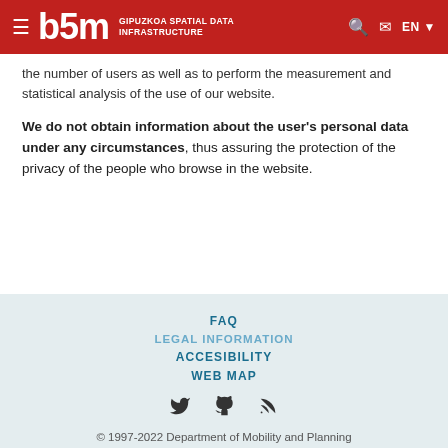b5m GIPUZKOA SPATIAL DATA INFRASTRUCTURE EN
the number of users as well as to perform the measurement and statistical analysis of the use of our website.
We do not obtain information about the user's personal data under any circumstances, thus assuring the protection of the privacy of the people who browse in the website.
FAQ LEGAL INFORMATION ACCESIBILITY WEB MAP © 1997-2022 Department of Mobility and Planning